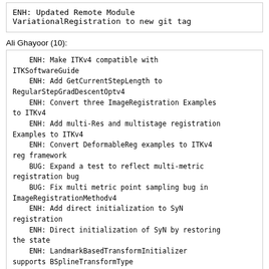ENH: Updated Remote Module VariationalRegistration to new git tag
Ali Ghayoor (10):
ENH: Make ITKv4 compatible with ITKSoftwareGuide
      ENH: Add GetCurrentStepLength to RegularStepGradDescentOptv4
      ENH: Convert three ImageRegistration Examples to ITKv4
      ENH: Add multi-Res and multistage registration Examples to ITKv4
      ENH: Convert DeformableReg examples to ITKv4 reg framework
      BUG: Expand a test to reflect multi-metric registration bug
      BUG: Fix multi metric point sampling bug in ImageRegistrationMethodv4
      ENH: Add direct initialization to SyN registration
      ENH: Direct initialization of SyN by restoring the state
      ENH: LandmarkBasedTransformInitializer supports BSplineTransformType
Arnaud Gelas (15):